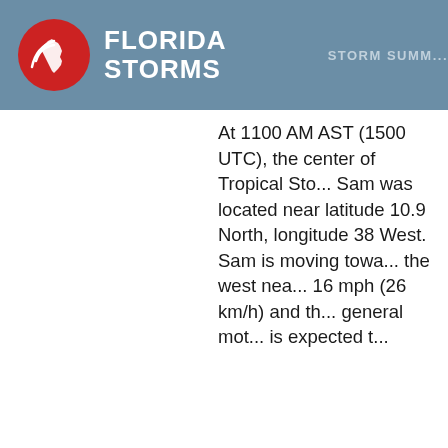FLORIDA STORMS — STORM SUMMARY
At 1100 AM AST (1500 UTC), the center of Tropical Storm Sam was located near latitude 10.9 North, longitude 38 West. Sam is moving toward the west near 16 mph (26 km/h) and the general motion is expected to